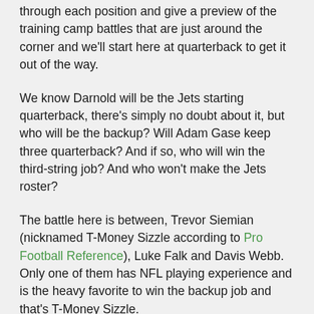through each position and give a preview of the training camp battles that are just around the corner and we'll start here at quarterback to get it out of the way.
We know Darnold will be the Jets starting quarterback, there's simply no doubt about it, but who will be the backup? Will Adam Gase keep three quarterback? And if so, who will win the third-string job? And who won't make the Jets roster?
The battle here is between, Trevor Siemian (nicknamed T-Money Sizzle according to Pro Football Reference), Luke Falk and Davis Webb. Only one of them has NFL playing experience and is the heavy favorite to win the backup job and that's T-Money Sizzle.
As a starting quarterback, T-Money Sizzle (and yes, I just learned of this nickname now and will never stop using it) has a record of 13-11, completed 59.3% of his passes for a total of